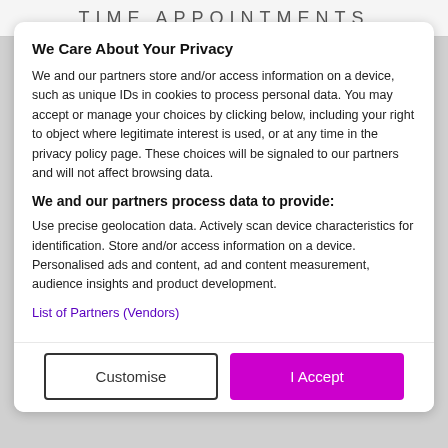TIME APPOINTMENTS
We Care About Your Privacy
We and our partners store and/or access information on a device, such as unique IDs in cookies to process personal data. You may accept or manage your choices by clicking below, including your right to object where legitimate interest is used, or at any time in the privacy policy page. These choices will be signaled to our partners and will not affect browsing data.
We and our partners process data to provide:
Use precise geolocation data. Actively scan device characteristics for identification. Store and/or access information on a device. Personalised ads and content, ad and content measurement, audience insights and product development.
List of Partners (Vendors)